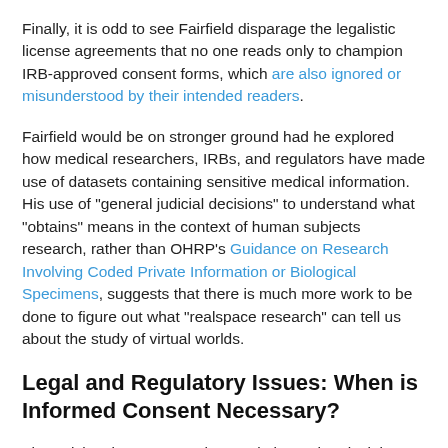Finally, it is odd to see Fairfield disparage the legalistic license agreements that no one reads only to champion IRB-approved consent forms, which are also ignored or misunderstood by their intended readers.
Fairfield would be on stronger ground had he explored how medical researchers, IRBs, and regulators have made use of datasets containing sensitive medical information. His use of "general judicial decisions" to understand what "obtains" means in the context of human subjects research, rather than OHRP's Guidance on Research Involving Coded Private Information or Biological Specimens, suggests that there is much more work to be done to figure out what "realspace research" can tell us about the study of virtual worlds.
Legal and Regulatory Issues: When is Informed Consent Necessary?
The article misrepresents the regulations when it claims that "The Common Rule requires full and documented informed